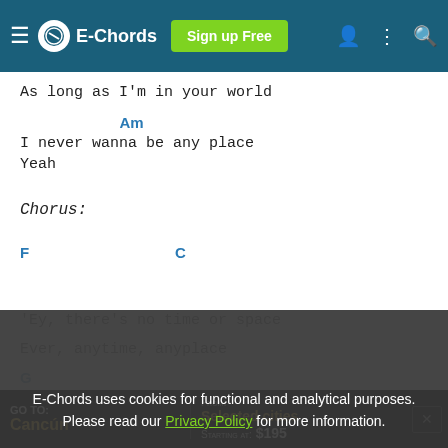E-Chords | Sign up Free
As long as I'm in your world
Am
I never wanna be any place
Yeah
Chorus:
F                                        C
'Ey, there's no time or space
Ever, anytime, anyplace
G
away when I'm lying here
E-Chords uses cookies for functional and analytical purposes. Please read our Privacy Policy for more information.
[Figure (screenshot): Advertisement banner for travel to Cancún, starting at $195]